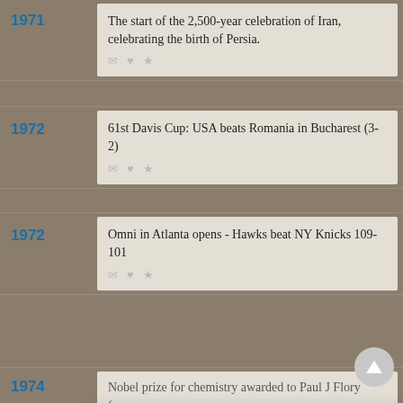1971 – The start of the 2,500-year celebration of Iran, celebrating the birth of Persia.
1972 – 61st Davis Cup: USA beats Romania in Bucharest (3-2)
1972 – Omni in Atlanta opens - Hawks beat NY Knicks 109-101
We use cookies to understand how you use our site and to improve your experience. This includes personalizing content for you and for the display and tracking of advertising. By continuing to use our site, you accept and agree to our use of cookies. Privacy Policy
1974 – Nobel prize for chemistry awarded to Paul J Flory (macr...